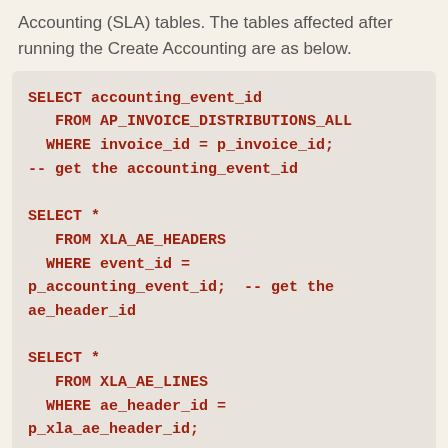Accounting (SLA) tables. The tables affected after running the Create Accounting are as below.
[Figure (other): SQL code block showing three SELECT queries: one from AP_INVOICE_DISTRIBUTIONS_ALL where invoice_id = p_invoice_id, one from XLA_AE_HEADERS where event_id = p_accounting_event_id to get ae_header_id, and one from XLA_AE_LINES where ae_header_id = p_xla_ae_header_id.]